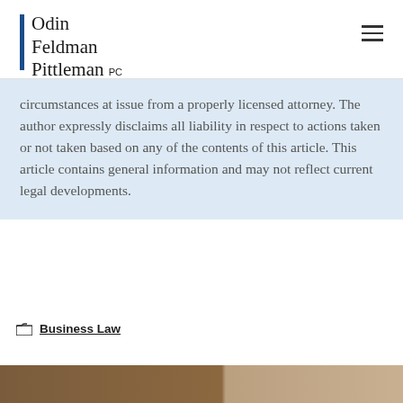Odin Feldman Pittleman PC
circumstances at issue from a properly licensed attorney. The author expressly disclaims all liability in respect to actions taken or not taken based on any of the contents of this article. This article contains general information and may not reflect current legal developments.
Business Law